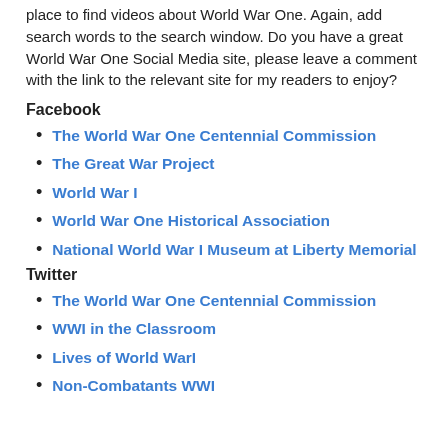place to find videos about World War One. Again, add search words to the search window. Do you have a great World War One Social Media site, please leave a comment with the link to the relevant site for my readers to enjoy?
Facebook
The World War One Centennial Commission
The Great War Project
World War I
World War One Historical Association
National World War I Museum at Liberty Memorial
Twitter
The World War One Centennial Commission
WWI in the Classroom
Lives of World WarI
Non-Combatants WWI